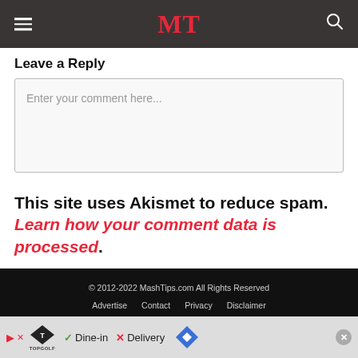MT
Leave a Reply
Enter your comment here...
This site uses Akismet to reduce spam. Learn how your comment data is processed.
© 2012-2022 MashTips.com All Rights Reserved
Advertise  Contact  Privacy  Disclaimer
AN ELITE CAFEMEDIA TECH PUBLISHER